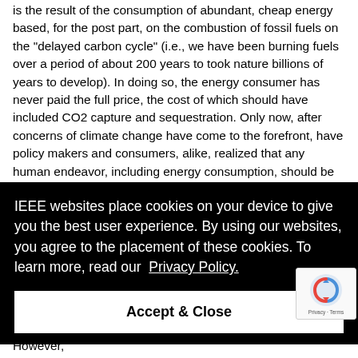is the result of the consumption of abundant, cheap energy based, for the post part, on the combustion of fossil fuels on the "delayed carbon cycle" (i.e., we have been burning fuels over a period of about 200 years to took nature billions of years to develop). In doing so, the energy consumer has never paid the full price, the cost of which should have included CO2 capture and sequestration. Only now, after concerns of climate change have come to the forefront, have policy makers and consumers, alike, realized that any human endeavor, including energy consumption, should be subjected to life-cycle costing. However, this self-evident
[Figure (screenshot): IEEE cookie consent overlay with text: 'IEEE websites place cookies on your device to give you the best user experience. By using our websites, you agree to the placement of these cookies. To learn more, read our Privacy Policy.' and an 'Accept & Close' button. A reCAPTCHA badge is visible in the bottom right corner.]
confidence that nuclear power can be safely managed. However,